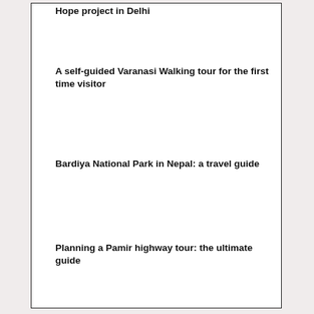Hope project in Delhi
A self-guided Varanasi Walking tour for the first time visitor
Bardiya National Park in Nepal: a travel guide
Planning a Pamir highway tour: the ultimate guide